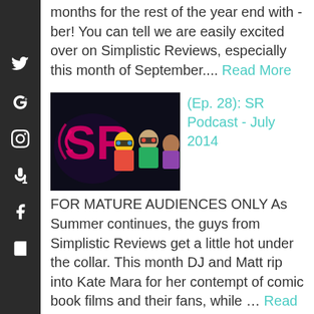months for the rest of the year end with -ber!  You can tell we are easily excited over on Simplistic Reviews, especially this month of September.... Read More
[Figure (photo): SR Podcast thumbnail showing animated characters with 3D glasses against dark background with SR logo]
(Ep. 28): SR Podcast - July 2014
FOR MATURE AUDIENCES ONLY As Summer continues, the guys from Simplistic Reviews get a little hot under the collar. This month DJ and Matt rip into Kate Mara for her contempt of comic book films and their fans, while … Read More
[Figure (photo): SR Podcast thumbnail showing animated characters with 3D glasses against dark background with SR logo]
(Ep. 24): SR Podcast - May 2014
It's May, and wouldn't you know it, we're on time this time! The Simplistic Reviews Podcast...